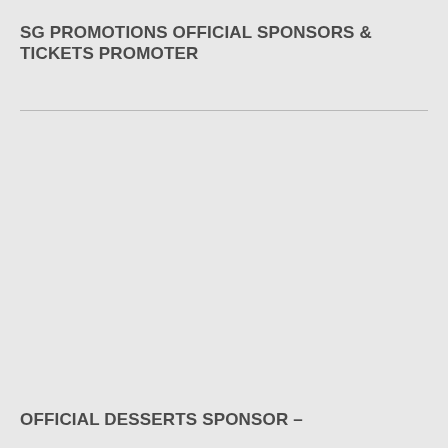SG PROMOTIONS OFFICIAL SPONSORS & TICKETS PROMOTER
OFFICIAL DESSERTS SPONSOR –